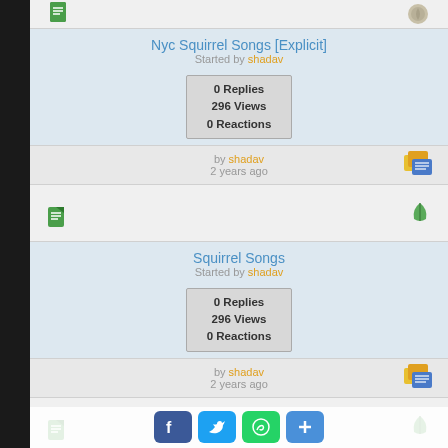[Figure (screenshot): Top partial row with green document icon and grey/brown leaf icon]
Nyc Squirrel Songs [Explicit]
Started by shadav
0 Replies
296 Views
0 Reactions
by shadav
2 years ago
[Figure (screenshot): Icon row with green document icon and green leaf icon]
Squirrel Songs
Started by shadav
0 Replies
296 Views
0 Reactions
by shadav
2 years ago
[Figure (screenshot): Icon row with green document icon and green leaf icon]
"Like" THIS! A Collection Rants & Observations (Volume 1)
[Figure (screenshot): Social share bar with Facebook, Twitter, WhatsApp, and add buttons]